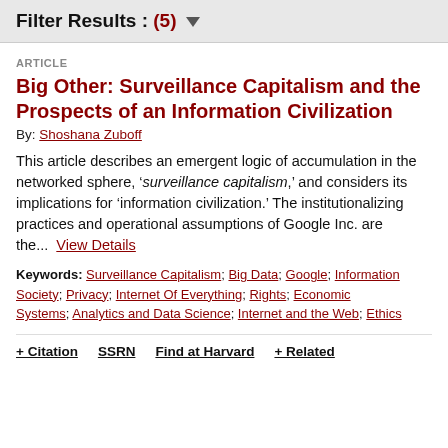Filter Results : (5) ▼
ARTICLE
Big Other: Surveillance Capitalism and the Prospects of an Information Civilization
By: Shoshana Zuboff
This article describes an emergent logic of accumulation in the networked sphere, 'surveillance capitalism,' and considers its implications for 'information civilization.' The institutionalizing practices and operational assumptions of Google Inc. are the...  View Details
Keywords: Surveillance Capitalism; Big Data; Google; Information Society; Privacy; Internet Of Everything; Rights; Economic Systems; Analytics and Data Science; Internet and the Web; Ethics
+ Citation   SSRN   Find at Harvard   + Related